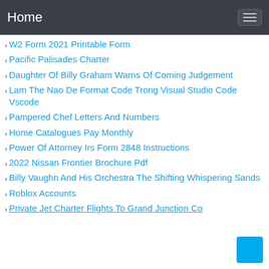Home
W2 Form 2021 Printable Form
Pacific Palisades Charter
Daughter Of Billy Graham Warns Of Coming Judgement
Lam The Nao De Format Code Trong Visual Studio Code Vscode
Pampered Chef Letters And Numbers
Home Catalogues Pay Monthly
Power Of Attorney Irs Form 2848 Instructions
2022 Nissan Frontier Brochure Pdf
Billy Vaughn And His Orchestra The Shifting Whispering Sands
Roblox Accounts
Private Jet Charter Flights To Grand Junction Co